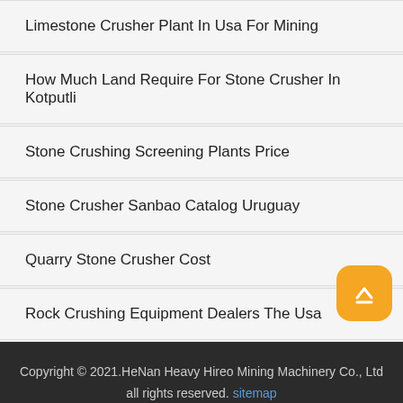Limestone Crusher Plant In Usa For Mining
How Much Land Require For Stone Crusher In Kotputli
Stone Crushing Screening Plants Price
Stone Crusher Sanbao Catalog Uruguay
Quarry Stone Crusher Cost
Rock Crushing Equipment Dealers The Usa
Copyright © 2021.HeNan Heavy Hireo Mining Machinery Co., Ltd all rights reserved. sitemap
Leave Message
Free Consultation